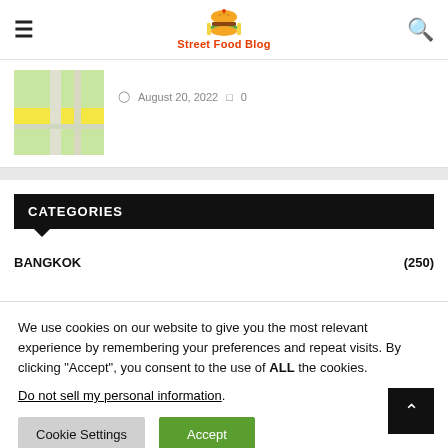Street Food Blog
[Figure (map): Small map thumbnail showing roads and a yellow highlighted road]
August 20, 2022  0
CATEGORIES
BANGKOK (250)
We use cookies on our website to give you the most relevant experience by remembering your preferences and repeat visits. By clicking "Accept", you consent to the use of ALL the cookies.
Do not sell my personal information.